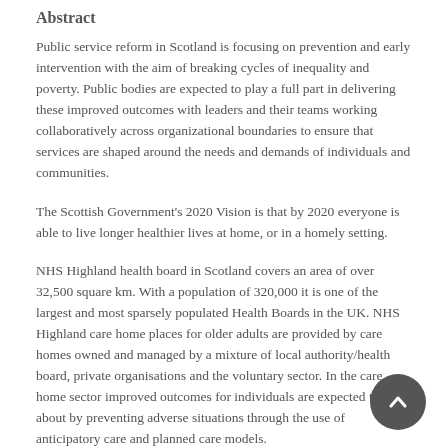Abstract
Public service reform in Scotland is focusing on prevention and early intervention with the aim of breaking cycles of inequality and poverty. Public bodies are expected to play a full part in delivering these improved outcomes with leaders and their teams working collaboratively across organizational boundaries to ensure that services are shaped around the needs and demands of individuals and communities.
The Scottish Government's 2020 Vision is that by 2020 everyone is able to live longer healthier lives at home, or in a homely setting.
NHS Highland health board in Scotland covers an area of over 32,500 square km. With a population of 320,000 it is one of the largest and most sparsely populated Health Boards in the UK. NHS Highland care home places for older adults are provided by care homes owned and managed by a mixture of local authority/health board, private organisations and the voluntary sector. In the care home sector improved outcomes for individuals are expected to come about by preventing adverse situations through the use of anticipatory care and planned care models.